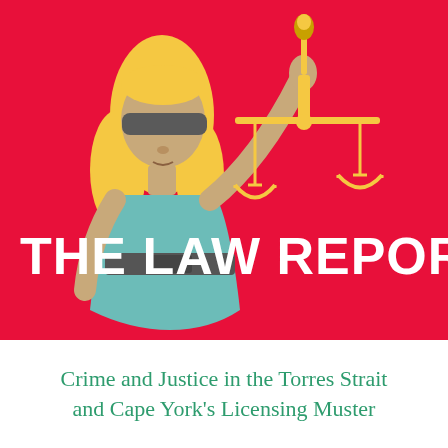[Figure (illustration): Illustration of Lady Justice (blindfolded woman with blonde hair, teal dress, grey belt) holding golden scales of justice aloft against a bright red/crimson background. Bold white text 'THE LAW REPORT' overlays the lower portion of the illustration.]
Crime and Justice in the Torres Strait and Cape York's Licensing Muster